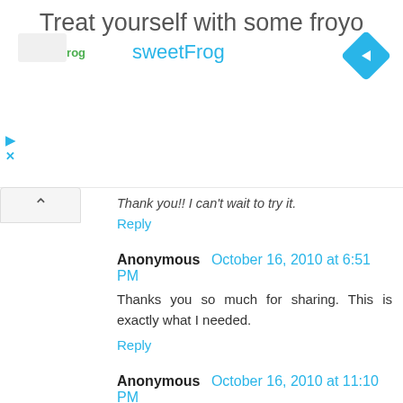[Figure (infographic): Advertisement banner for sweetFrog frozen yogurt. Shows title 'Treat yourself with some froyo', sweetFrog logo, brand name in blue, and a blue diamond navigation icon on the right.]
Thank you!! I can't wait to try it.
Reply
Anonymous October 16, 2010 at 6:51 PM
Thanks you so much for sharing. This is exactly what I needed.
Reply
Anonymous October 16, 2010 at 11:10 PM
I LOVE, LOVE, LOVE this!!!
Thank you!!!!
Reply